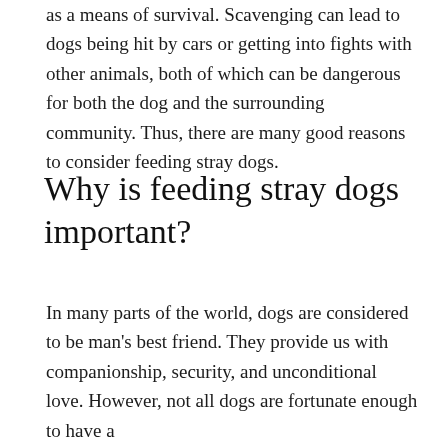as a means of survival. Scavenging can lead to dogs being hit by cars or getting into fights with other animals, both of which can be dangerous for both the dog and the surrounding community. Thus, there are many good reasons to consider feeding stray dogs.
Why is feeding stray dogs important?
In many parts of the world, dogs are considered to be man's best friend. They provide us with companionship, security, and unconditional love. However, not all dogs are fortunate enough to have a